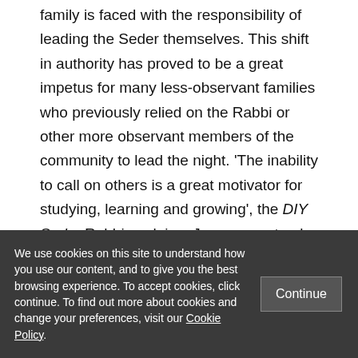family is faced with the responsibility of leading the Seder themselves. This shift in authority has proved to be a great impetus for many less-observant families who previously relied on the Rabbi or other more observant members of the community to lead the night. 'The inability to call on others is a great motivator for studying, learning and growing', the DIY Seder Rabbi explains. Jews are not only learning through more "official"
We use cookies on this site to understand how you use our content, and to give you the best browsing experience. To accept cookies, click continue. To find out more about cookies and change your preferences, visit our Cookie Policy.